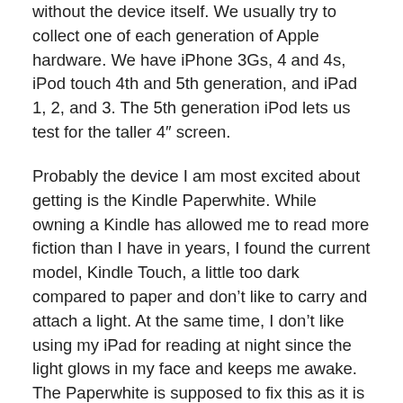without the device itself. We usually try to collect one of each generation of Apple hardware. We have iPhone 3Gs, 4 and 4s, iPod touch 4th and 5th generation, and iPad 1, 2, and 3. The 5th generation iPod lets us test for the taller 4″ screen.
Probably the device I am most excited about getting is the Kindle Paperwhite. While owning a Kindle has allowed me to read more fiction than I have in years, I found the current model, Kindle Touch, a little too dark compared to paper and don't like to carry and attach a light. At the same time, I don't like using my iPad for reading at night since the light glows in my face and keeps me awake. The Paperwhite is supposed to fix this as it is not backlight but has lighting all the same. For $120 I'll find out.
Conspicuously missing is the iPhone 5. I have concerns about my personal use of this device. For one, I want my